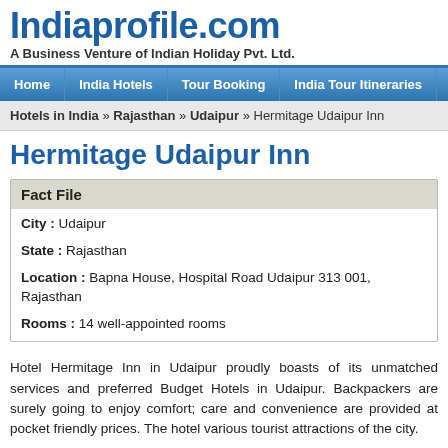Indiaprofile.com - A Business Venture of Indian Holiday Pvt. Ltd.
[Figure (logo): Indiaprofile.com logo in blue bold text with tagline: A Business Venture of Indian Holiday Pvt. Ltd.]
Home | India Hotels | Tour Booking | India Tour Itineraries
Hotels in India » Rajasthan » Udaipur » Hermitage Udaipur Inn
Hermitage Udaipur Inn
| Field | Value |
| --- | --- |
| City : | Udaipur |
| State : | Rajasthan |
| Location : | Bapna House, Hospital Road Udaipur 313 001, Rajasthan |
| Rooms : | 14 well-appointed rooms |
Hotel Hermitage Inn in Udaipur proudly boasts of its unmatched services and preferred Budget Hotels in Udaipur. Backpackers are surely going to enjoy comfort; care and convenience are provided at pocket friendly prices. The hotel various tourist attractions of the city.